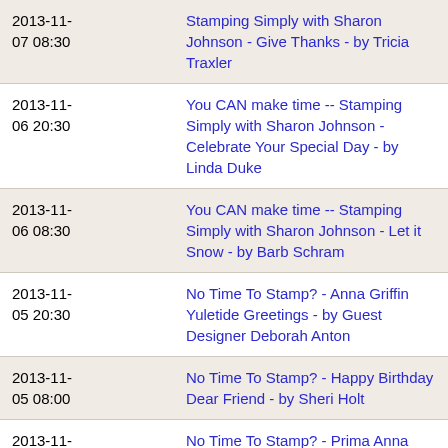| Date | Title |
| --- | --- |
| 2013-11-07 08:30 | Stamping Simply with Sharon Johnson - Give Thanks - by Tricia Traxler |
| 2013-11-06 20:30 | You CAN make time -- Stamping Simply with Sharon Johnson - Celebrate Your Special Day - by Linda Duke |
| 2013-11-06 08:30 | You CAN make time -- Stamping Simply with Sharon Johnson - Let it Snow - by Barb Schram |
| 2013-11-05 20:30 | No Time To Stamp? - Anna Griffin Yuletide Greetings - by Guest Designer Deborah Anton |
| 2013-11-05 08:00 | No Time To Stamp? - Happy Birthday Dear Friend - by Sheri Holt |
| 2013-11-04 08:30 | No Time To Stamp? - Prima Anna Marie Everyday Dress - by Heidi Blankenship |
| 2013-11- | No Time To Stamp? - Bo |